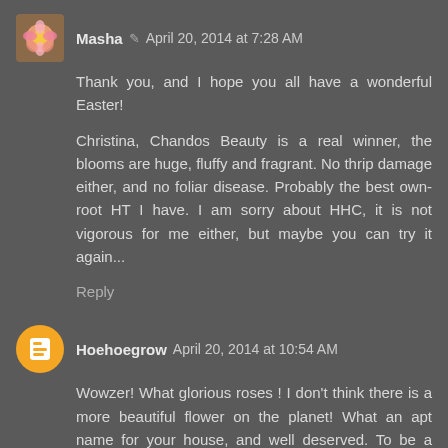Masha ✏ April 20, 2014 at 7:28 AM
Thank you, and I hope you all have a wonderful Easter!
Christina, Chandos Beauty is a real winner, the blooms are huge, fluffy and fragrant. No thrip damage either, and no foliar disease. Probably the best own-root HT I have. I am sorry about HHC, it is not vigorous for me either, but maybe you can try it again...
Reply
Hoehoegrow April 20, 2014 at 10:54 AM
Wowzer! What glorious roses ! I don't think there is a more beautiful flower on the planet! What an apt name for your house, and well deserved. To be a local landmark is something to be proud of ! Mine, here in the uk are in vigorous growth now and the first beds are beginning to form, but it will be a few weeks before the first bloom, which I guess will be Viechenbleu. Can't wait for my old roses and English roses to bloom ! Thanks for the photos